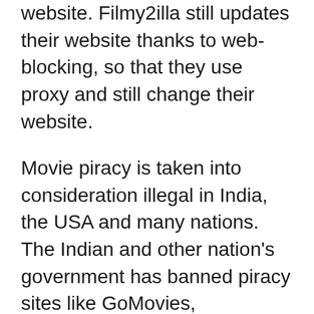website. Filmy2illa still updates their website thanks to web-blocking, so that they use proxy and still change their website.
Movie piracy is taken into consideration illegal in India, the USA and many nations. The Indian and other nation's government has banned piracy sites like GoMovies, 123movies, Fmovies, Movierulz, Isaimini and TamilRockers. However, every effort by the govt. has didn't stop the leak or piracy of flicks on such websites. To tackle the bans around the world, GoMovies online website keeps gradually changing its domain extension from .com, .xyz, .io, .tk and much more. This unstoppable piracy site has been challenging the worldwide authority by continuing its illegal actions and leaking